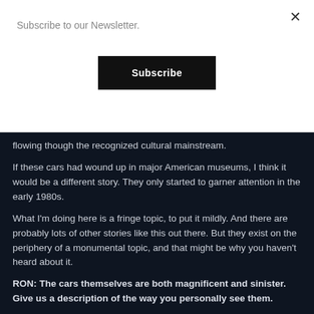Subscribe to our Newsletter.
Subscribe
flowing though the recognized cultural mainstream.
If these cars had wound up in major American museums, I think it would be a different story. They only started to garner attention in the early 1980s.
What I'm doing here is a fringe topic, to put it mildly. And there are probably lots of other stories like this out there. But they exist on the periphery of a monumental topic, and that might be why you haven't heard about it.
RON: The cars themselves are both magnificent and sinister. Give us a description of the way you personally see them.
ROBERT: I have seen both of these cars in person, and, of course, I have